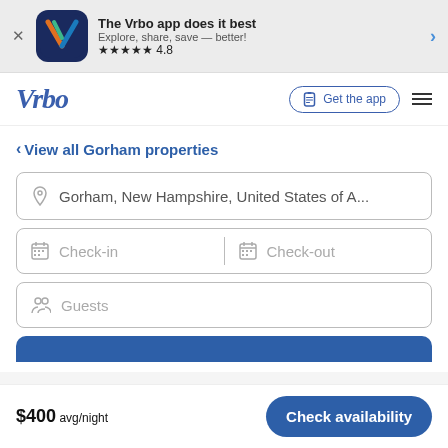[Figure (screenshot): Vrbo app banner with icon showing stylized V logo on dark blue background, app title 'The Vrbo app does it best', subtitle 'Explore, share, save — better!', star rating 4.8]
The Vrbo app does it best
Explore, share, save — better!
★★★★★ 4.8
[Figure (logo): Vrbo logo in blue italic serif font]
Get the app
< View all Gorham properties
Gorham, New Hampshire, United States of A...
Check-in
Check-out
Guests
$400 avg/night
Check availability